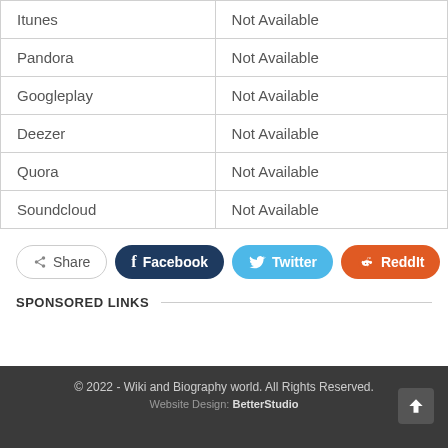| Itunes | Not Available |
| Pandora | Not Available |
| Googleplay | Not Available |
| Deezer | Not Available |
| Quora | Not Available |
| Soundcloud | Not Available |
Share  Facebook  Twitter  ReddIt  +
SPONSORED LINKS
© 2022 - Wiki and Biography world. All Rights Reserved.
Website Design: BetterStudio